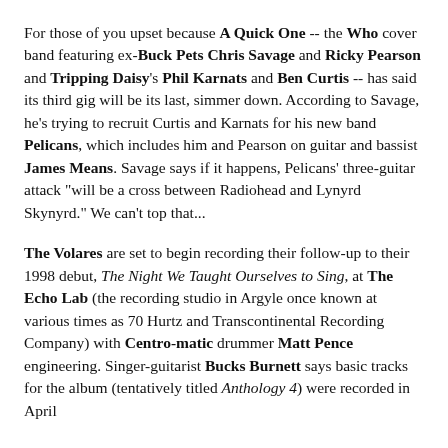For those of you upset because A Quick One -- the Who cover band featuring ex-Buck Pets Chris Savage and Ricky Pearson and Tripping Daisy's Phil Karnats and Ben Curtis -- has said its third gig will be its last, simmer down. According to Savage, he's trying to recruit Curtis and Karnats for his new band Pelicans, which includes him and Pearson on guitar and bassist James Means. Savage says if it happens, Pelicans' three-guitar attack "will be a cross between Radiohead and Lynyrd Skynyrd." We can't top that...
The Volares are set to begin recording their follow-up to their 1998 debut, The Night We Taught Ourselves to Sing, at The Echo Lab (the recording studio in Argyle once known at various times as 70 Hurtz and Transcontinental Recording Company) with Centro-matic drummer Matt Pence engineering. Singer-guitarist Bucks Burnett says basic tracks for the album (tentatively titled Anthology 4) were recorded in April